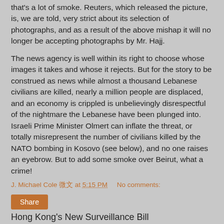that's a lot of smoke. Reuters, which released the picture, is, we are told, very strict about its selection of photographs, and as a result of the above mishap it will no longer be accepting photographs by Mr. Hajj.
The news agency is well within its right to choose whose images it takes and whose it rejects. But for the story to be construed as news while almost a thousand Lebanese civilians are killed, nearly a million people are displaced, and an economy is crippled is unbelievingly disrespectful of the nightmare the Lebanese have been plunged into. Israeli Prime Minister Olmert can inflate the threat, or totally misrepresent the number of civilians killed by the NATO bombing in Kosovo (see below), and no one raises an eyebrow. But to add some smoke over Beirut, what a crime!
J. Michael Cole 微文 at 5:15 PM    No comments:
Share
Hong Kong's New Surveillance Bill